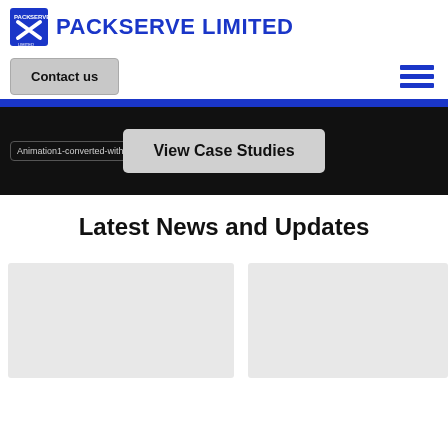[Figure (logo): Packserve Limited logo with blue icon and company name]
PACKSERVE LIMITED
Contact us
[Figure (other): Hamburger menu icon with three blue horizontal lines]
[Figure (other): Hero/animation area with dark background showing 'Animation1-converted-with' label and 'View Case Studies' button]
Latest News and Updates
[Figure (other): Two light grey news card placeholders side by side at bottom of page]